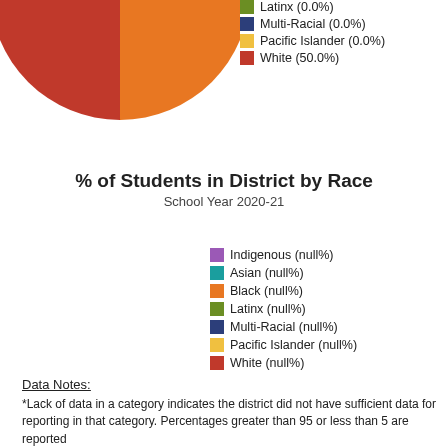[Figure (pie-chart): % of Students in District by Race]
% of Students in District by Race
School Year 2020-21
[Figure (pie-chart): % of Students in District by Race]
Data Notes:
*Lack of data in a category indicates the district did not have sufficient data for reporting in that category. Percentages greater than 95 or less than 5 are reported